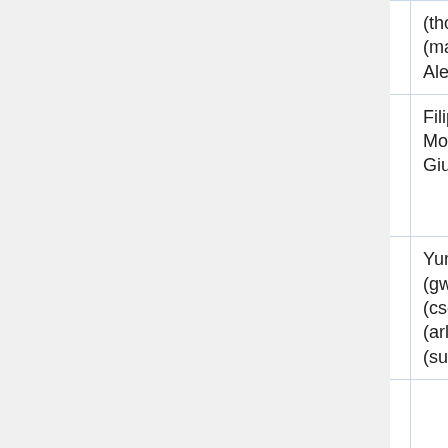| Time | Type | People |
| --- | --- | --- |
| #
08:00–09:00 PDT | (Max 8 patches) | (thcipriani)
(marktraceur)
Alex (Krenair... |
| 16:00–17:00 UTC
#
09:00–10:00 PDT | Puppet SWAT
(Max 8 patches) | Filippo (godog)
Moritz (moritz...)
Giuseppe (_jo... |
| 17:00–18:00 UTC
#
10:00–11:00 PDT | Services – Graphoid / Parsoid / OCG / Citoid | Yuri (yurik), G...
(gwicke), C.Sc...
(cscott), Arlo...
(arlolra), Su...
(subbu) |
| 19:00–21:00 UTC | MediaWiki... | Mukunda... |